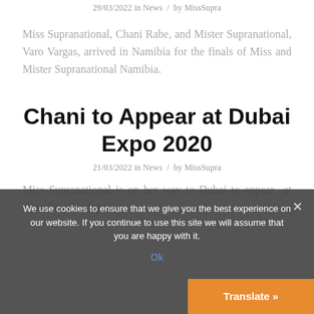29/03/2022 in News / by MissSupra
Miss Supranational, Chani Rabe, and Mister Supranational, Varo Vargas, arrived in Namibia for the finals of Miss and Mister Supranational Namibia.
Chani to Appear at Dubai Expo 2020
21/03/2022 in News / by MissSupra
Miss Supranational is on her way to Dubai to appear at Namibia's Indepe
We use cookies to ensure that we give you the best experience on our website. If you continue to use this site we will assume that you are happy with it.